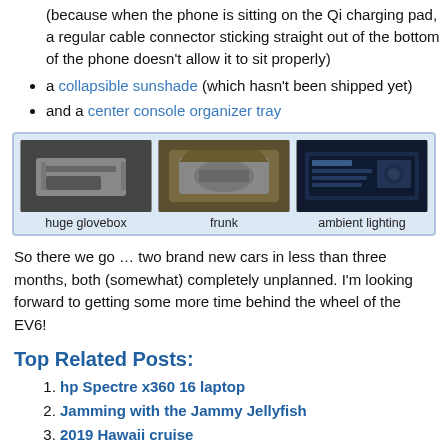(because when the phone is sitting on the Qi charging pad, a regular cable connector sticking straight out of the bottom of the phone doesn't allow it to sit properly)
a collapsible sunshade (which hasn't been shipped yet)
and a center console organizer tray
[Figure (photo): Three photos side by side: huge glovebox, frunk, ambient lighting, inside a light blue bordered box]
huge glovebox    frunk    ambient lighting
So there we go … two brand new cars in less than three months, both (somewhat) completely unplanned. I'm looking forward to getting some more time behind the wheel of the EV6!
Top Related Posts:
hp Spectre x360 16 laptop
Jamming with the Jammy Jellyfish
2019 Hawaii cruise